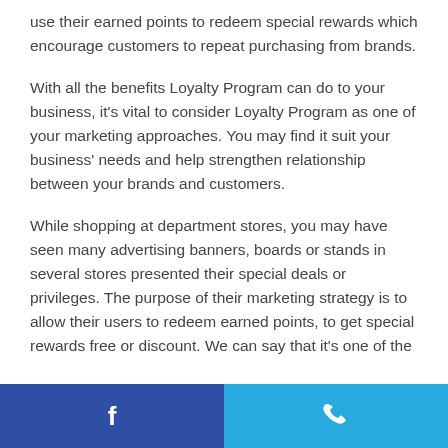use their earned points to redeem special rewards which encourage customers to repeat purchasing from brands.
With all the benefits Loyalty Program can do to your business, it's vital to consider Loyalty Program as one of your marketing approaches. You may find it suit your business' needs and help strengthen relationship between your brands and customers.
While shopping at department stores, you may have seen many advertising banners, boards or stands in several stores presented their special deals or privileges. The purpose of their marketing strategy is to allow their users to redeem earned points, to get special rewards free or discount. We can say that it's one of the
f  [phone icon]